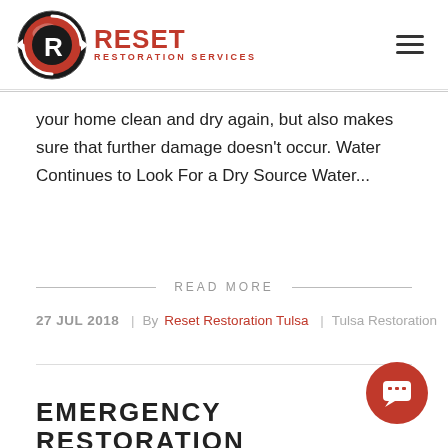Reset Restoration Services
your home clean and dry again, but also makes sure that further damage doesn't occur. Water Continues to Look For a Dry Source Water...
READ MORE
27 JUL 2018 | By Reset Restoration Tulsa | Tulsa Restoration
EMERGENCY RESTORATION